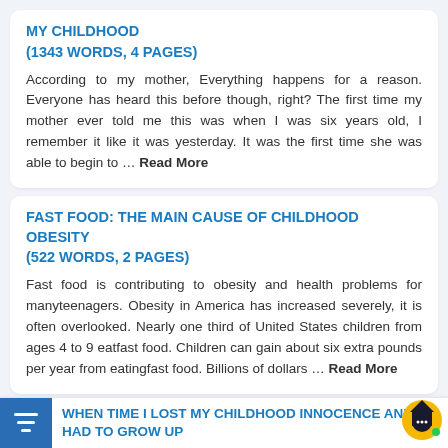MY CHILDHOOD (1343 WORDS, 4 PAGES)
According to my mother, Everything happens for a reason. Everyone has heard this before though, right? The first time my mother ever told me this was when I was six years old, I remember it like it was yesterday. It was the first time she was able to begin to … Read More
FAST FOOD: THE MAIN CAUSE OF CHILDHOOD OBESITY (522 WORDS, 2 PAGES)
Fast food is contributing to obesity and health problems for manyteenagers. Obesity in America has increased severely, it is often overlooked. Nearly one third of United States children from ages 4 to 9 eatfast food. Children can gain about six extra pounds per year from eatingfast food. Billions of dollars … Read More
WHEN TIME I LOST MY CHILDHOOD INNOCENCE AND HAD TO GROW UP